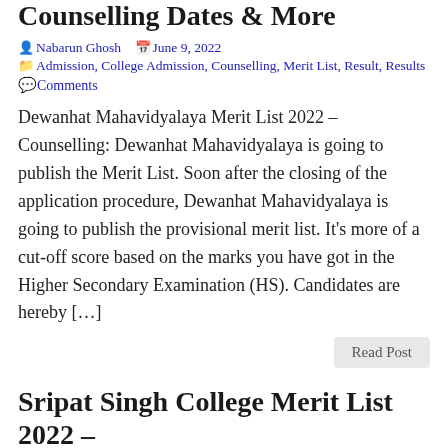Counselling Dates & More
Nabarun Ghosh   June 9, 2022
Admission, College Admission, Counselling, Merit List, Result, Results
Comments
Dewanhat Mahavidyalaya Merit List 2022 – Counselling: Dewanhat Mahavidyalaya is going to publish the Merit List. Soon after the closing of the application procedure, Dewanhat Mahavidyalaya is going to publish the provisional merit list. It's more of a cut-off score based on the marks you have got in the Higher Secondary Examination (HS). Candidates are hereby […]
Read Post
Sripat Singh College Merit List 2022 – Counselling
Parag Mukherjee   June 9, 2022
Admission, College Admission, Counselling, Merit